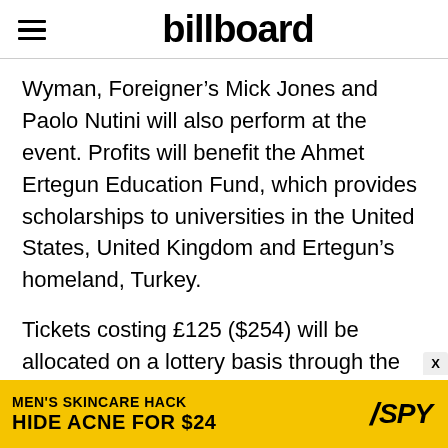billboard
Wyman, Foreigner’s Mick Jones and Paolo Nutini will also perform at the event. Profits will benefit the Ahmet Ertegun Education Fund, which provides scholarships to universities in the United States, United Kingdom and Ertegun’s homeland, Turkey.
Tickets costing £125 ($254) will be allocated on a lottery basis through the Ahmettribute.com web site. Billboard.com understands there are no plans to broadcast or commercially release music from the show.
Putting an end to several months of speculation, it was
[Figure (other): Advertisement banner: MEN’S SKINCARE HACK HIDE ACNE FOR $24 with SPY logo on yellow background]